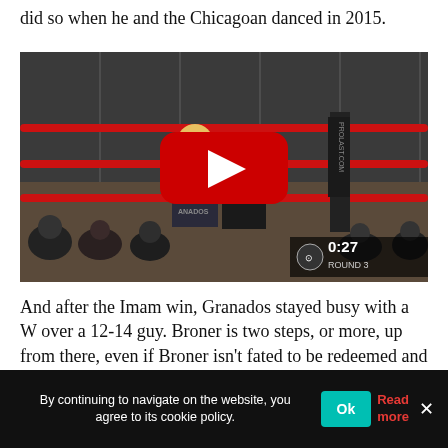did so when he and the Chicagoan danced in 2015.
[Figure (screenshot): YouTube video embed showing a boxing match in a ring with red ropes. Two fighters are visible, one with blonde hair. A large red YouTube play button is overlaid in the center. Bottom-right shows a timer reading 0:27 and ROUND 3. A PROLAST.COM banner is visible on the ring post. Audience members are visible in the background.]
And after the Imam win, Granados stayed busy with a W over a 12-14 guy. Broner is two steps, or more, up from there, even if Broner isn't fated to be redeemed and
By continuing to navigate on the website, you agree to its cookie policy.